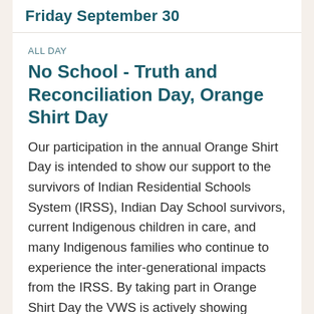Friday September 30
ALL DAY
No School - Truth and Reconciliation Day, Orange Shirt Day
Our participation in the annual Orange Shirt Day is intended to show our support to the survivors of Indian Residential Schools System (IRSS), Indian Day School survivors, current Indigenous children in care, and many Indigenous families who continue to experience the inter-generational impacts from the IRSS. By taking part in Orange Shirt Day the VWS is actively showing respect for and support of Indigeneity, Indigenous families at the VWS, and the ongoing work of reconciliation through our engagement in meaningful conversations to